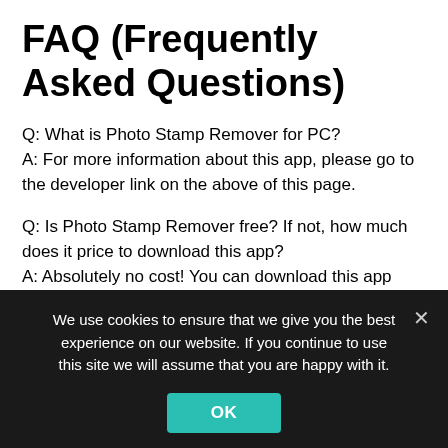FAQ (Frequently Asked Questions)
Q: What is Photo Stamp Remover for PC?
A: For more information about this app, please go to the developer link on the above of this page.
Q: Is Photo Stamp Remover free? If not, how much does it price to download this app?
A: Absolutely no cost! You can download this app from official websites for free by this website—any extra details about the license you can found on the owner's websites.
We use cookies to ensure that we give you the best experience on our website. If you continue to use this site we will assume that you are happy with it. OK